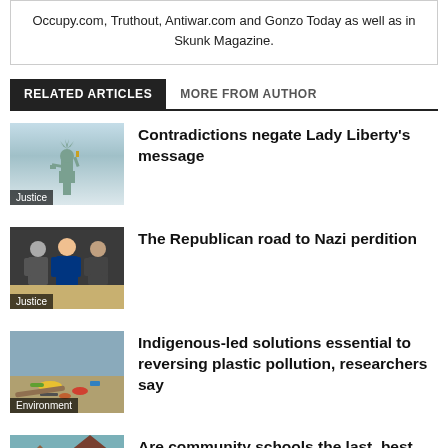Occupy.com, Truthout, Antiwar.com and Gonzo Today as well as in Skunk Magazine.
RELATED ARTICLES | MORE FROM AUTHOR
Contradictions negate Lady Liberty's message [Justice]
The Republican road to Nazi perdition [Justice]
Indigenous-led solutions essential to reversing plastic pollution, researchers say [Environment]
Are community schools the last, best...